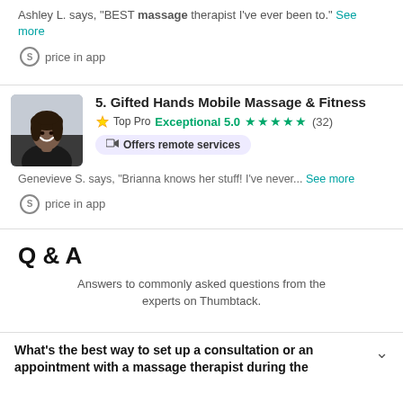Ashley L. says, "BEST massage therapist I've ever been to." See more
price in app
5. Gifted Hands Mobile Massage & Fitness
Top Pro Exceptional 5.0 ★★★★★ (32)
Offers remote services
Genevieve S. says, "Brianna knows her stuff! I've never... See more
price in app
Q & A
Answers to commonly asked questions from the experts on Thumbtack.
What's the best way to set up a consultation or an appointment with a massage therapist during the